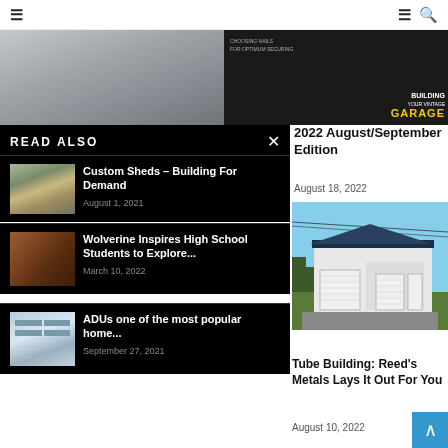≡  ≡ 🔍
[Figure (photo): Partial view of a gray shed or building door, top portion visible]
[Figure (photo): Dark background with text: CHOOSING NAILS / BUILDING YOUR VINTAGE GARAGE]
READ ALSO
[Figure (photo): Custom shed with open wooden door]
Custom Sheds – Building For Demand
August 1, 2021
[Figure (photo): Brown leather work boot]
Wolverine Inspires High School Students to Explore...
March 10, 2022
[Figure (photo): Blueprint illustration of ADU home plans]
ADUs one of the most popular home...
September 27, 2021
2022 August/September Edition
August 18, 2022
[Figure (photo): White metal garage building with blue roof trim in green landscape]
Tube Building: Reed's Metals Lays It Out For You
August 10, 2022